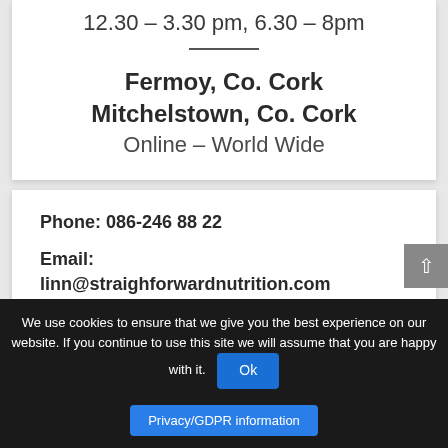12.30 – 3.30 pm, 6.30 – 8pm
Fermoy, Co. Cork
Mitchelstown, Co. Cork
Online – World Wide
Phone: 086-246 88 22
Email: linn@straightforwardnutrition.com
We use cookies to ensure that we give you the best experience on our website. If you continue to use this site we will assume that you are happy with it.
Ok
Privacy/GDPR information